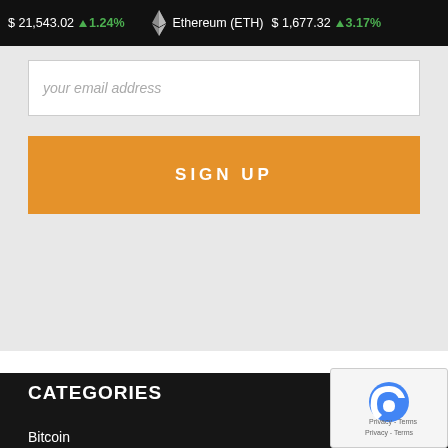$ 21,543.02 ↑1.24% Ethereum (ETH) $ 1,677.32 ↑3.17%
your email address
SIGN UP
CATEGORIES
Bitcoin 416
Business 29
Cryptocurrency
Economy
Education